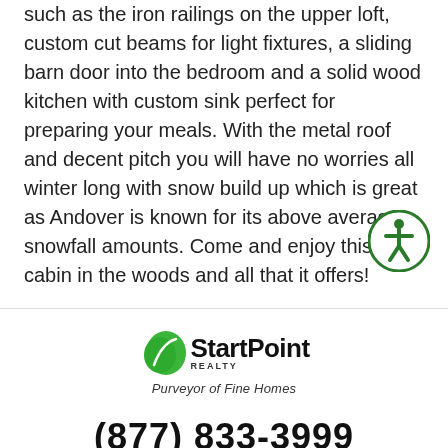such as the iron railings on the upper loft, custom cut beams for light fixtures, a sliding barn door into the bedroom and a solid wood kitchen with custom sink perfect for preparing your meals. With the metal roof and decent pitch you will have no worries all winter long with snow build up which is great as Andover is known for its above average snowfall amounts. Come and enjoy this cabin in the woods and all that it offers!
[Figure (logo): StartPoint Realty logo with green emblem and tagline 'Purveyor of Fine Homes']
(877) 833-3999